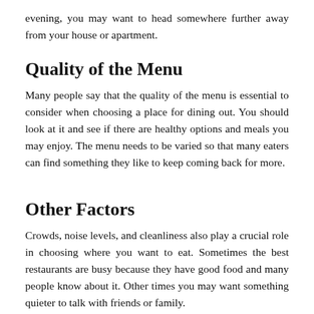evening, you may want to head somewhere further away from your house or apartment.
Quality of the Menu
Many people say that the quality of the menu is essential to consider when choosing a place for dining out. You should look at it and see if there are healthy options and meals you may enjoy. The menu needs to be varied so that many eaters can find something they like to keep coming back for more.
Other Factors
Crowds, noise levels, and cleanliness also play a crucial role in choosing where you want to eat. Sometimes the best restaurants are busy because they have good food and many people know about it. Other times you may want something quieter to talk with friends or family.